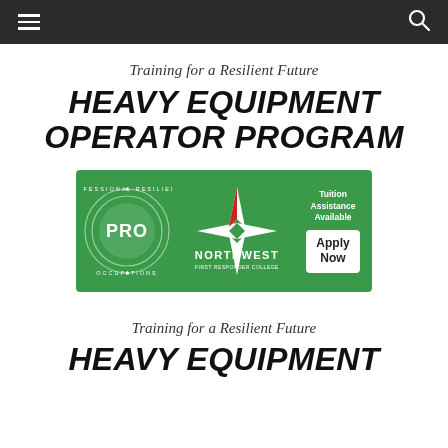Navigation bar with menu and search icons
Training for a Resilient Future
HEAVY EQUIPMENT OPERATOR PROGRAM
[Figure (logo): PRO (Professional Resilience Occupations) and Northwest logo banner on green background with 'Tuition Assistance Available' and 'Apply Now' button]
Training for a Resilient Future
HEAVY EQUIPMENT